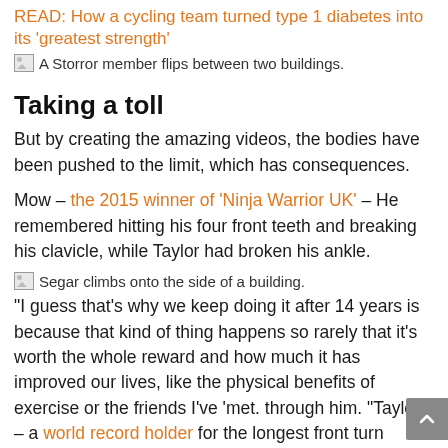READ: How a cycling team turned type 1 diabetes into its 'greatest strength'
A Storror member flips between two buildings.
Taking a toll
But by creating the amazing videos, the bodies have been pushed to the limit, which has consequences.
Mow – the 2015 winner of 'Ninja Warrior UK' – He remembered hitting his four front teeth and breaking his clavicle, while Taylor had broken his ankle.
Segar climbs onto the side of a building.
“I guess that’s why we keep doing it after 14 years is because that kind of thing happens so rarely that it’s worth the whole reward and how much it has improved our lives, like the physical benefits of exercise or the friends I’ve ‘met. through him. “Taylor – a world record holder for the longest front turn